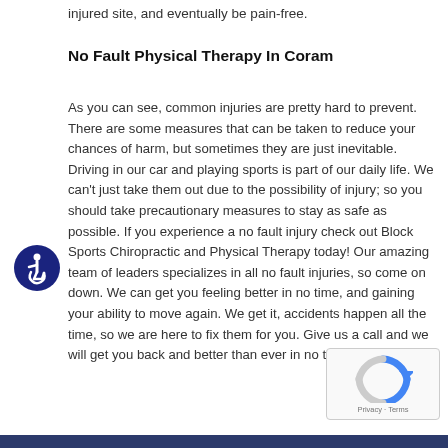injured site, and eventually be pain-free.
No Fault Physical Therapy In Coram
As you can see, common injuries are pretty hard to prevent. There are some measures that can be taken to reduce your chances of harm, but sometimes they are just inevitable. Driving in our car and playing sports is part of our daily life. We can't just take them out due to the possibility of injury; so you should take precautionary measures to stay as safe as possible. If you experience a no fault injury check out Block Sports Chiropractic and Physical Therapy today! Our amazing team of leaders specializes in all no fault injuries, so come on down. We can get you feeling better in no time, and gaining your ability to move again. We get it, accidents happen all the time, so we are here to fix them for you. Give us a call and we will get you back and better than ever in no time!
[Figure (logo): Accessibility icon - blue circle with wheelchair symbol]
[Figure (other): Google reCAPTCHA widget with Privacy and Terms text]